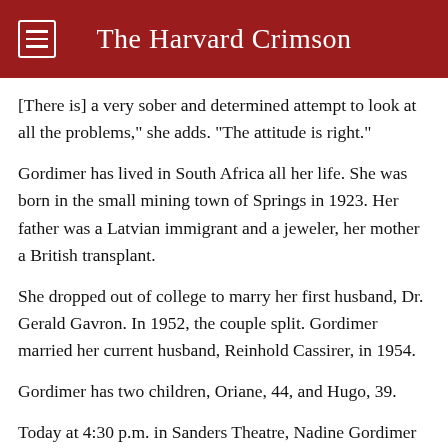The Harvard Crimson
[There is] a very sober and determined attempt to look at all the problems," she adds. "The attitude is right."
Gordimer has lived in South Africa all her life. She was born in the small mining town of Springs in 1923. Her father was a Latvian immigrant and a jeweler, her mother a British transplant.
She dropped out of college to marry her first husband, Dr. Gerald Gavron. In 1952, the couple split. Gordimer married her current husband, Reinhold Cassirer, in 1954.
Gordimer has two children, Oriane, 44, and Hugo, 39.
Today at 4:30 p.m. in Sanders Theatre, Nadine Gordimer will deliver a lecture titled, "That Other World That Was the World." The talk, which concludes her Norton lecture series "Writing and Being," will focus on her ties to South Africa